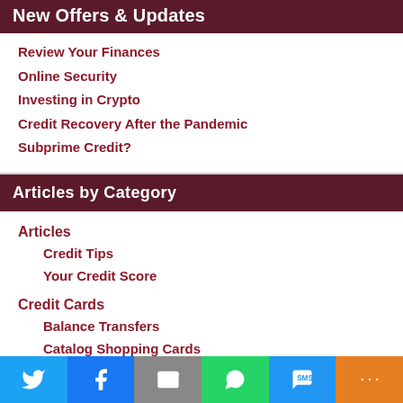New Offers & Updates
Review Your Finances
Online Security
Investing in Crypto
Credit Recovery After the Pandemic
Subprime Credit?
Articles by Category
Articles
Credit Tips
Your Credit Score
Credit Cards
Balance Transfers
Catalog Shopping Cards
Secured Credit Cards
Unsecured Credit Cards
This website uses cookies to improve your experience. We'll assume you're ok with this, but you can opt out if you wish.